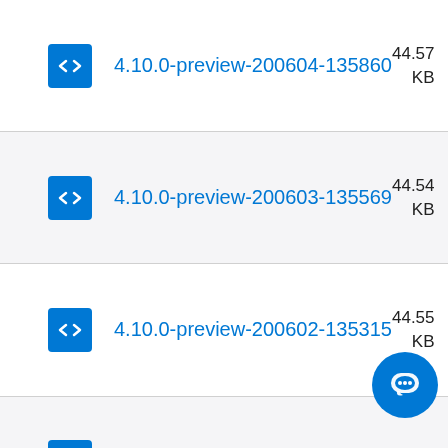4.10.0-preview-200604-135860, 44.57 KB, Th Ju 09 Gl
4.10.0-preview-200603-135569, 44.54 KB, W Ju 09 Gl
4.10.0-preview-200602-135315, 44.55 KB, Tu Ju 09 Gl
4.10.0-preview-200530-134902, Sa M 20 09 Gl